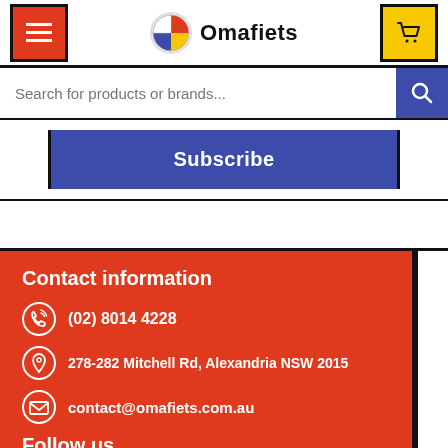Omafiets
Search for products or brands...
Subscribe
Contact information
(02) 8014 4228
278-282 Mitchell Rd, Alexandria NSW 2015
contact@omafiets.com.au
Follow us